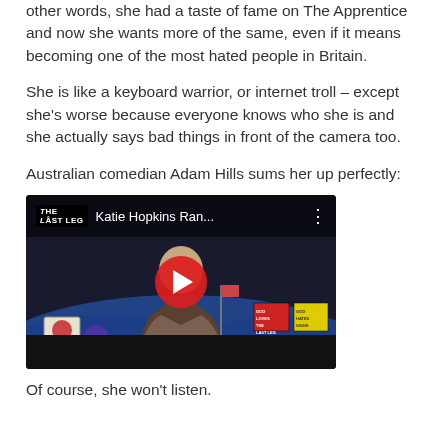other words, she had a taste of fame on The Apprentice and now she wants more of the same, even if it means becoming one of the most hated people in Britain.
She is like a keyboard warrior, or internet troll – except she's worse because everyone knows who she is and she actually says bad things in front of the camera too.
Australian comedian Adam Hills sums her up perfectly:
[Figure (screenshot): Embedded YouTube video thumbnail showing 'Katie Hopkins Ran...' from The Last Leg channel, featuring a man in a suit sitting behind a desk with props, with a red YouTube play button overlay.]
Of course, she won't listen.